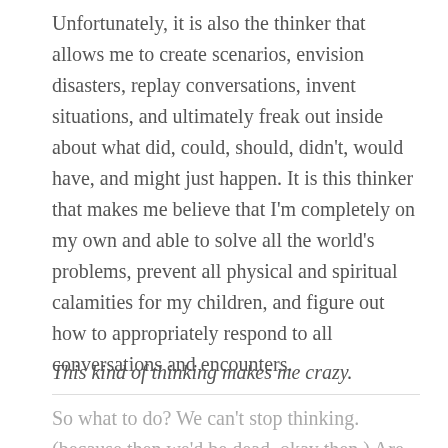Unfortunately, it is also the thinker that allows me to create scenarios, envision disasters, replay conversations, invent situations, and ultimately freak out inside about what did, could, should, didn't, would have, and might just happen. It is this thinker that makes me believe that I'm completely on my own and able to solve all the world's problems, prevent all physical and spiritual calamities for my children, and figure out how to appropriately respond to all conversations and encounters.
This kind of thinking makes me crazy.
So what to do? We can't stop thinking. (because then we'd be dead. okay then.)  Are those of us who tend to